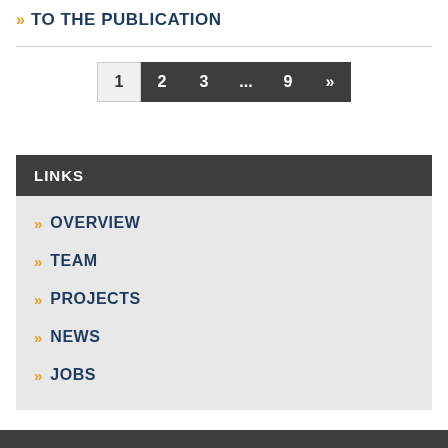» TO THE PUBLICATION
Pagination: 1  2  3  ...  9  »
LINKS
» OVERVIEW
» TEAM
» PROJECTS
» NEWS
» JOBS